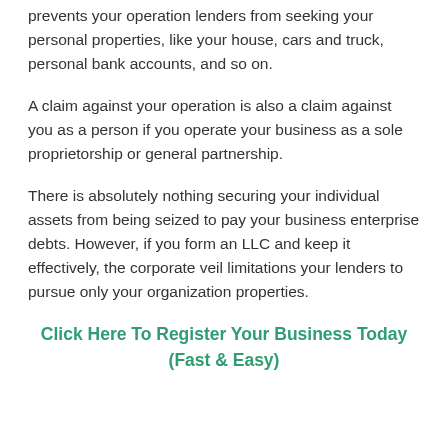prevents your operation lenders from seeking your personal properties, like your house, cars and truck, personal bank accounts, and so on.
A claim against your operation is also a claim against you as a person if you operate your business as a sole proprietorship or general partnership.
There is absolutely nothing securing your individual assets from being seized to pay your business enterprise debts. However, if you form an LLC and keep it effectively, the corporate veil limitations your lenders to pursue only your organization properties.
Click Here To Register Your Business Today (Fast & Easy)